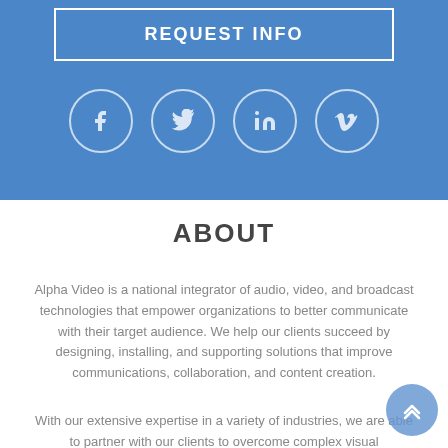REQUEST INFO
[Figure (infographic): Four social media icons in circles: Facebook, Twitter, LinkedIn, Vimeo on blue background]
ABOUT
Alpha Video is a national integrator of audio, video, and broadcast technologies that empower organizations to better communicate with their target audience. We help our clients succeed by designing, installing, and supporting solutions that improve communications, collaboration, and content creation.
With our extensive expertise in a variety of industries, we are able to partner with our clients to overcome complex visual communications challenges.